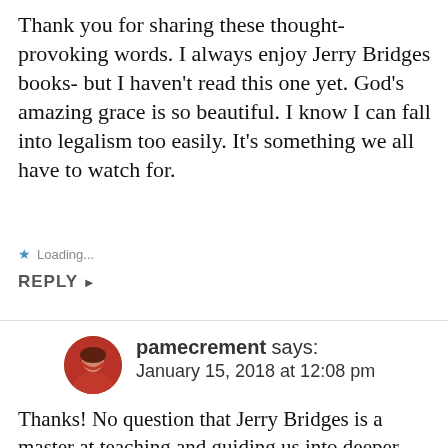Thank you for sharing these thought-provoking words. I always enjoy Jerry Bridges books- but I haven't read this one yet. God's amazing grace is so beautiful. I know I can fall into legalism too easily. It's something we all have to watch for.
★ Loading...
REPLY ▸
pamecrement says: January 15, 2018 at 12:08 pm
Thanks! No question that Jerry Bridges is a master at teaching and guiding us into deeper